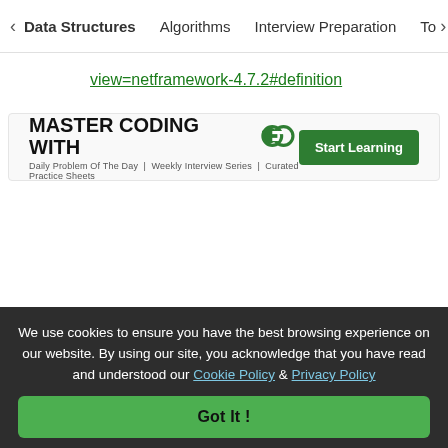< Data Structures   Algorithms   Interview Preparation   To>
view=netframework-4.7.2#definition
[Figure (infographic): GeeksForGeeks ad banner: MASTER CODING WITH GFG logo, subtitle 'Daily Problem Of The Day | Weekly Interview Series | Curated Practice Sheets', green Start Learning button]
Like  1
We use cookies to ensure you have the best browsing experience on our website. By using our site, you acknowledge that you have read and understood our Cookie Policy & Privacy Policy
Got It !